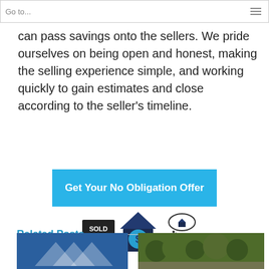Go to...
can pass savings onto the sellers. We pride ourselves on being open and honest, making the selling experience simple, and working quickly to gain estimates and close according to the seller's timeline.
[Figure (other): Blue CTA button reading 'Get Your No Obligation Offer']
[Figure (illustration): Three real estate icons: a SOLD sign on a post, a house with a dollar sign, and a person thinking about a house]
Related Posts
[Figure (photo): Thumbnail image on the left showing a logo with mountain/chevron shapes on blue background]
[Figure (photo): Thumbnail image on the right showing an aerial or landscape view with trees and rocks]